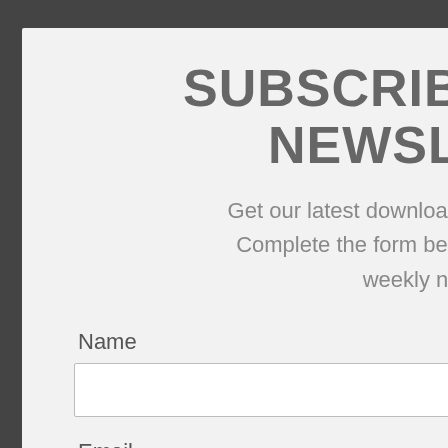SUBSCRIBE TO OUR NEWSLETTER
Get our latest downloads and information first. Complete the form below to subscribe to our weekly newsletter.
Name
Email
I consent to being contacted via telephone and/or email and I consent to
[Figure (screenshot): Close button with cyan/teal background in top right corner with text CLOSE]